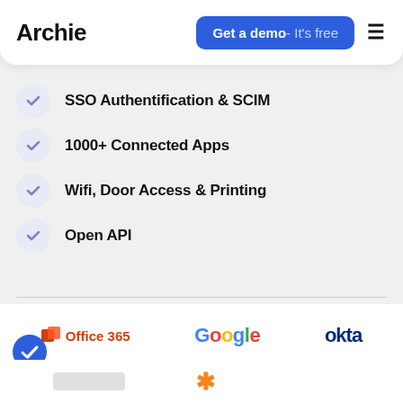Archie | Get a demo - It's free
SSO Authentification & SCIM
1000+ Connected Apps
Wifi, Door Access & Printing
Open API
[Figure (logo): Office 365 logo, Google logo, Okta logo displayed side by side in the lower section of the page]